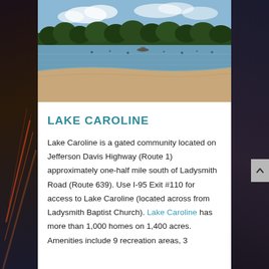[Figure (photo): Photograph of Lake Caroline showing calm lake water with sandy beach in foreground, trees in background, and a boat visible on the water under a partly cloudy sky.]
LAKE CAROLINE
Lake Caroline is a gated community located on Jefferson Davis Highway (Route 1) approximately one-half mile south of Ladysmith Road (Route 639). Use I-95 Exit #110 for access to Lake Caroline (located across from Ladysmith Baptist Church). Lake Caroline has more than 1,000 homes on 1,400 acres. Amenities include 9 recreation areas, 3